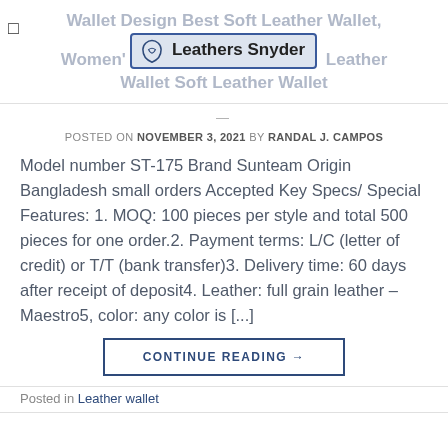Wallet Design Best Soft Leather Wallet, Women's … Leather Wallet Soft Leather Wallet
[Figure (logo): Leathers Snyder logo with leather icon and blue border on grey background]
POSTED ON NOVEMBER 3, 2021 BY RANDAL J. CAMPOS
Model number ST-175 Brand Sunteam Origin Bangladesh small orders Accepted Key Specs/ Special Features: 1. MOQ: 100 pieces per style and total 500 pieces for one order.2. Payment terms: L/C (letter of credit) or T/T (bank transfer)3. Delivery time: 60 days after receipt of deposit4. Leather: full grain leather – Maestro5, color: any color is [...]
CONTINUE READING →
Posted in Leather wallet